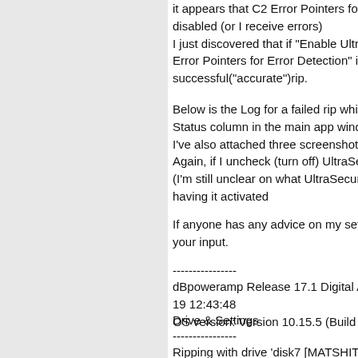it appears that C2 Error Pointers for Em disabled (or I receive errors) I just discovered that if "Enable Ultra Se Error Pointers for Error Detection" is NO successful("accurate")rip.
Below is the Log for a failed rip which s Status column in the main app window I've also attached three screenshots o Again, if I uncheck (turn off) UltraSecure (I'm still unclear on what UltraSecure is having it activated
If anyone has any advice on my setting your input.
----------------
dBpoweramp Release 17.1 Digital Audi 19 12:43:48 OS version: Version 10.15.5 (Build 19F10
Drive & Settings
----------------
Ripping with drive 'disk7 [MATSHITA - DY Overread Lead-in/out: No AccurateRip: Active, Using C2: Yes, Cach Invalidate: No Pass 1 Drive Speed: Max, Pass 2 Drive